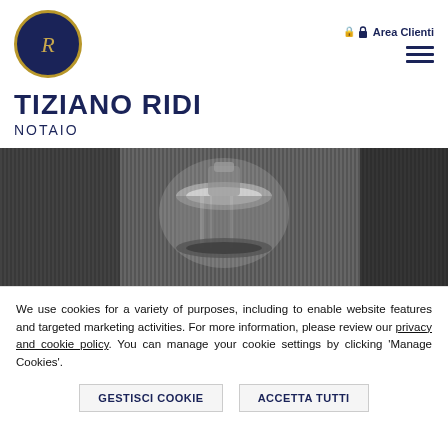[Figure (logo): Circular dark navy blue logo with gold border and stylized IR monogram in gold]
Area Clienti
TIZIANO RIDI
NOTAIO
[Figure (photo): Black and white close-up photo of what appears to be a notary seal or stamp, dark background with metallic cylindrical object]
We use cookies for a variety of purposes, including to enable website features and targeted marketing activities. For more information, please review our privacy and cookie policy. You can manage your cookie settings by clicking 'Manage Cookies'.
GESTISCI COOKIE
ACCETTA TUTTI